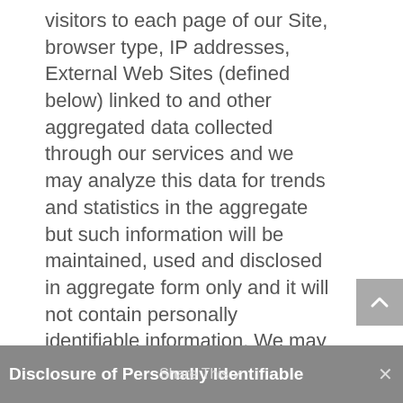visitors to each page of our Site, browser type, IP addresses, External Web Sites (defined below) linked to and other aggregated data collected through our services and we may analyze this data for trends and statistics in the aggregate but such information will be maintained, used and disclosed in aggregate form only and it will not contain personally identifiable information. We may use such aggregate information to analyze trends, administer the Site, track users' movement, and gather broad demographic information for aggregate use.
Disclosure of Personally Identifiable